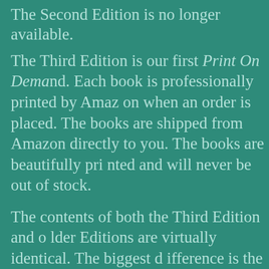The Second Edition is no longer available.
The Third Edition is our first Print On Demand. Each book is professionally printed by Amazon when an order is placed. The books are shipped from Amazon directly to you. The books are beautifully printed and will never be out of stock.
The contents of both the Third Edition and older Editions are virtually identical. The biggest difference is the larger page size and the books binding.
June Meyer's Authentic Hungarian Heirloom cookbook is filled with 95 authentic, pre World War II family recipes from the Austro-Hungarian Empire. These recipes were never written down, but have been passed down from generation to generation for the last...